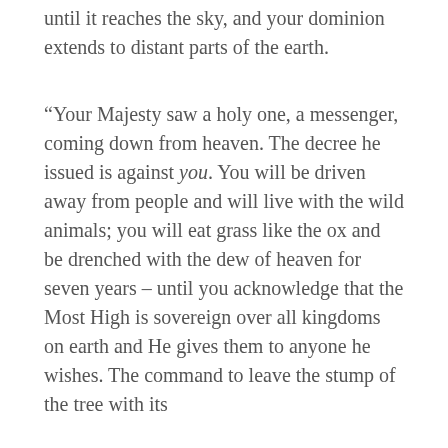until it reaches the sky, and your dominion extends to distant parts of the earth.
“Your Majesty saw a holy one, a messenger, coming down from heaven. The decree he issued is against you. You will be driven away from people and will live with the wild animals; you will eat grass like the ox and be drenched with the dew of heaven for seven years – until you acknowledge that the Most High is sovereign over all kingdoms on earth and He gives them to anyone he wishes. The command to leave the stump of the tree with its